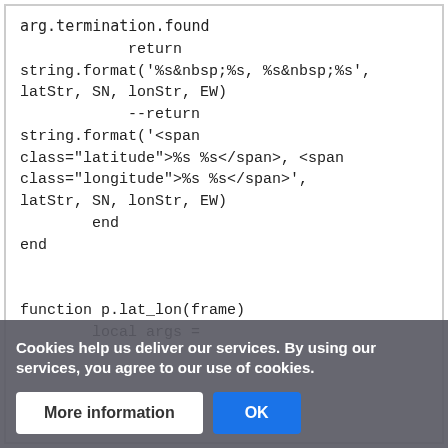[Figure (screenshot): Code block showing Lua/Ruby-like code with return statements using string.format with HTML span tags for latitude/longitude, followed by end keywords and a function definition p.lat_lon(frame) with local args =]
Cookies help us deliver our services. By using our services, you agree to our use of cookies.
More information
OK